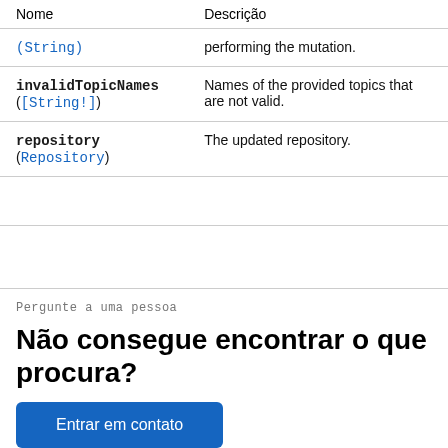| Nome | Descrição |
| --- | --- |
| (String) | performing the mutation. |
| invalidTopicNames ([String!]) | Names of the provided topics that are not valid. |
| repository (Repository) | The updated repository. |
Pergunte a uma pessoa
Não consegue encontrar o que procura?
Entrar em contato